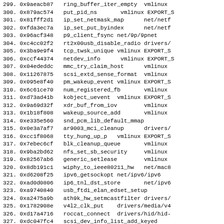299. 0x9aeacb87   ring_buffer_iter_empty  vmlinux
300. 0x879ac574   put_pid_ns       vmlinux EXPORT_S
301. 0x81fff2d1   ip_set_netmask_map      net/netf
302. 0xfda3ec7a   ip_set_put_byindex      net/netf
303. 0x96acf348   p9_client_fsync net/9p/9pnet
304. 0xc4cc02f2   rt2x00usb_disable_radio drivers/
305. 0x3ba9e9f4   tcp_twsk_unique vmlinux EXPORT_S
306. 0xccf44374   netdev_info      vmlinux EXPORT_S
307. 0x04ededdc   mmc_try_claim_host      vmlinux
308. 0x11267875   scsi_extd_sense_format  vmlinux
309. 0x095e8f40   pm_wakeup_event vmlinux EXPORT_S
310. 0x6c61ce70   num_registered_fb       vmlinux
311. 0xd73ad41b   kobject_uevent  vmlinux EXPORT_S
312. 0x9a69d32f   xdr_buf_from_iov        vmlinux
313. 0x1b18f808   wakeup_source_add       vmlinux
314. 0xe335e560   snd_pcm_lib_default_mmap
315. 0x0e3a7af7   ar9003_mci_cleanup      drivers/
316. 0xcc1f8068   tty_hung_up_p   vmlinux EXPORT_S
317. 0x7ebec6cf   blk_cleanup_queue       vmlinux
318. 0x9ba2bd62   nfs_set_sb_security     vmlinux
319. 0x82567ab6   generic_setlease        vmlinux
320. 0x8db191c1   wiphy_to_ieee80211_hw   net/mac8
321. 0xd6208f25   ipv6_getsockopt net/ipv6/ipv6
322. 0xad0d0806   ip6_tnl_dst_store       net/ipv6
323. 0xa9740840   usb_ftdi_elan_edset_setup
324. 0xa2475a9b   ath9k_hw_setmcastfilter drivers/
325. 0x1782908e   v4l2_clk_put    drivers/media/v4
326. 0xd17a4716   roccat_connect  drivers/hid/hid-
327. 0xdc047fc4   scsi_dev_info_list_add_keyed